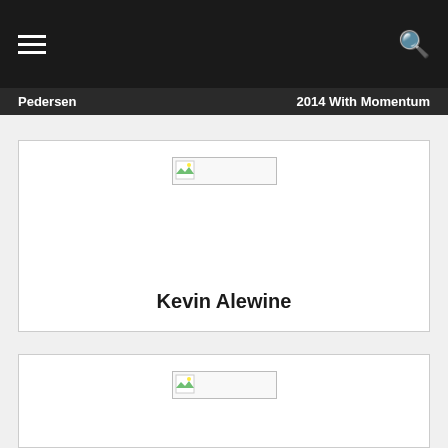☰  [search icon]
Pedersen | 2014 With Momentum
[Figure (screenshot): Card with broken image placeholder and author name Kevin Alewine]
[Figure (screenshot): Second card with broken image placeholder, partially visible]